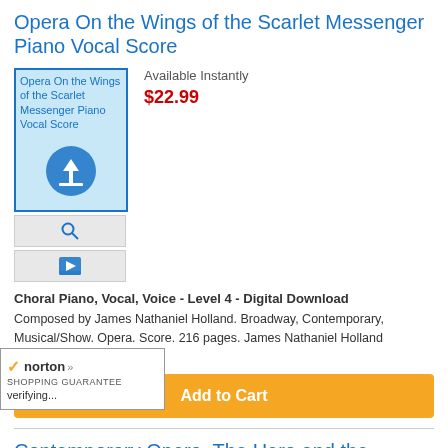Opera On the Wings of the Scarlet Messenger Piano Vocal Score
[Figure (photo): Product cover image for Opera On the Wings of the Scarlet Messenger Piano Vocal Score with download icon overlay]
Available Instantly
$22.99
Choral Piano, Vocal, Voice - Level 4 - Digital Download
Composed by James Nathaniel Holland. Broadway, Contemporary, Musical/Show. Opera. Score. 216 pages. James Nathaniel Holland #423705.
Add to Cart
Contemporary Opera, The Hero and the Damned (The seus and Medusa) Piano Vocal Score
Available Instantly
[Figure (logo): Norton Shopping Guarantee badge with checkmark, verifying...]